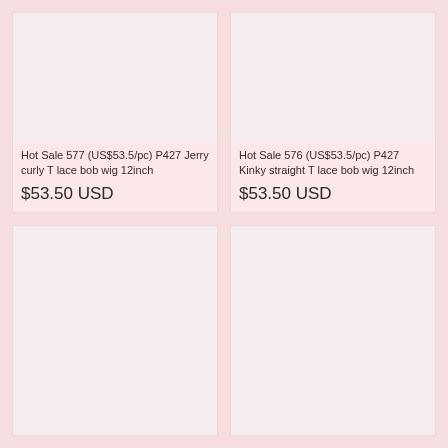[Figure (photo): Product image placeholder for Hot Sale 577 Jerry curly T lace bob wig]
[Figure (photo): Product image placeholder for Hot Sale 576 Kinky straight T lace bob wig]
Hot Sale 577 (US$53.5/pc) P427 Jerry curly T lace bob wig 12inch
$53.50 USD
Hot Sale 576 (US$53.5/pc) P427 Kinky straight T lace bob wig 12inch
$53.50 USD
[Figure (photo): Product image placeholder - bottom left product]
[Figure (photo): Product image placeholder - bottom right product]